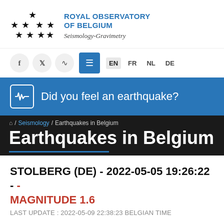[Figure (logo): Royal Observatory of Belgium logo with star pattern (EU flag stars arrangement) and organization name]
[Figure (infographic): Navigation bar with social media icons (f, twitter, RSS), blue menu button, and language options EN FR NL DE]
[Figure (infographic): Blue banner with seismograph icon and text 'Did you feel an earthquake?']
Home / Seismology / Earthquakes in Belgium
Earthquakes in Belgium
STOLBERG (DE) - 2022-05-05 19:26:22 - MAGNITUDE 1.6
LAST UPDATE : 2022-05-09 22:38:23 BELGIAN TIME